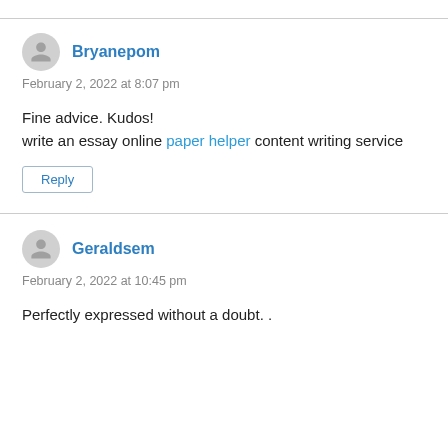Bryanepom
February 2, 2022 at 8:07 pm
Fine advice. Kudos!
write an essay online paper helper content writing service
Reply
Geraldsem
February 2, 2022 at 10:45 pm
Perfectly expressed without a doubt. .